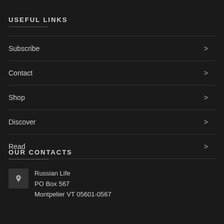USEFUL LINKS
Subscribe
Contact
Shop
Discover
Read
OUR CONTACTS
Russian Life
PO Box 567
Montpelier VT 05601-0567